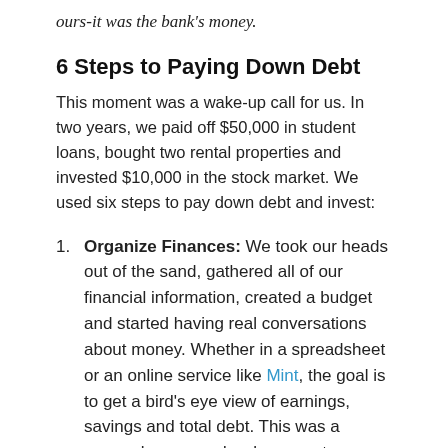ours-it was the bank's money.
6 Steps to Paying Down Debt
This moment was a wake-up call for us. In two years, we paid off $50,000 in student loans, bought two rental properties and invested $10,000 in the stock market. We used six steps to pay down debt and invest:
Organize Finances: We took our heads out of the sand, gathered all of our financial information, created a budget and started having real conversations about money. Whether in a spreadsheet or an online service like Mint, the goal is to get a bird's eye view of earnings, savings and total debt. This was a game-changer and woke us up to